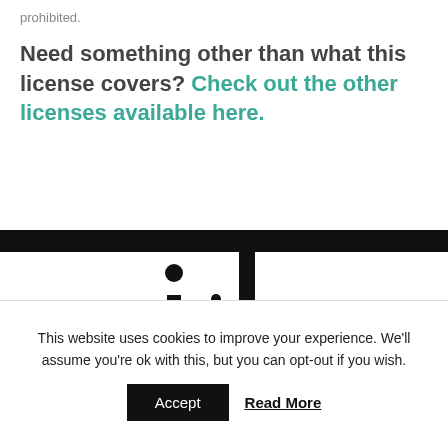prohibited.
Need something other than what this license covers? Check out the other licenses available here.
[Figure (logo): Partial logo showing stylized '.ib' characters in black on white background]
This website uses cookies to improve your experience. We'll assume you're ok with this, but you can opt-out if you wish.
Accept   Read More